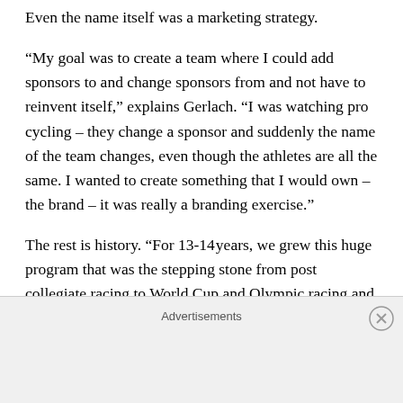Even the name itself was a marketing strategy.
“My goal was to create a team where I could add sponsors to and change sponsors from and not have to reinvent itself,” explains Gerlach. “I was watching pro cycling – they change a sponsor and suddenly the name of the team changes, even though the athletes are all the same. I wanted to create something that I would own – the brand – it was really a branding exercise.”
The rest is history. “For 13-14 years, we grew this huge program that was the stepping stone from post collegiate racing to World Cup and Olympic racing and the…
Advertisements